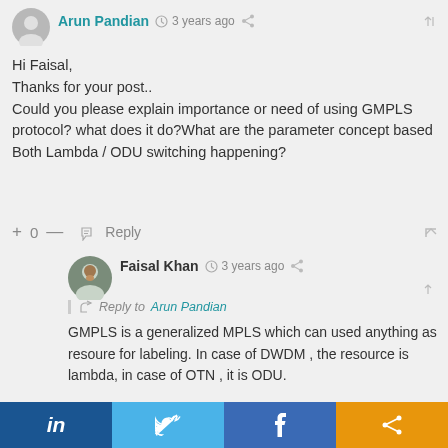[Figure (photo): Gray placeholder avatar circle for Arun Pandian]
Arun Pandian  3 years ago
Hi Faisal,
Thanks for your post..
Could you please explain importance or need of using GMPLS protocol? what does it do?What are the parameter concept based Both Lambda / ODU switching happening?
+ 0 —  Reply
[Figure (photo): Small avatar photo of Faisal Khan]
Faisal Khan  3 years ago
Reply to Arun Pandian
GMPLS is a generalized MPLS which can used anything as resoure for labeling. In case of DWDM , the resource is lambda, in case of OTN , it is ODU.
+ 0 —  Reply
in  Twitter bird  f  share